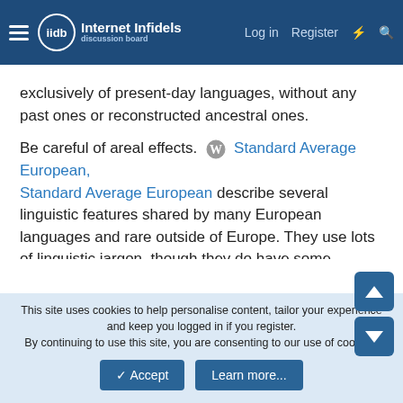Internet Infidels - Log in - Register
exclusively of present-day languages, without any past ones or reconstructed ancestral ones.
Be careful of areal effects. [W] Standard Average European, Standard Average European describe several linguistic features shared by many European languages and rare outside of Europe. They use lots of linguistic jargon, though they do have some examples.
Euroversals - Are all European languages alike? - YouTube
Standard Average European: The European Sprachbund - YouTube
Dolgopolsky list with numbers in Swadesh-list versions for easy
This site uses cookies to help personalise content, tailor your experience and keep you logged in if you register. By continuing to use this site, you are consenting to our use of cookies.